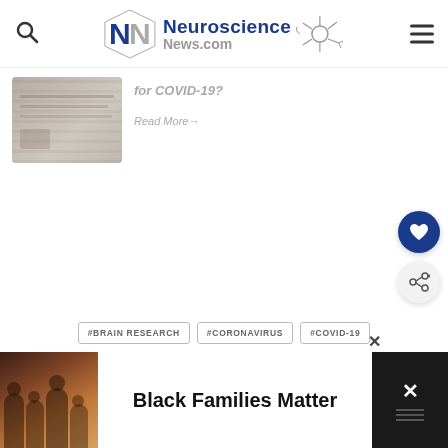Neuroscience News.com
[Figure (screenshot): Faded article thumbnail image showing grayscale content]
for COVID-19?
Read More→
#BRAIN RESEARCH
#CORONAVIRUS
#COVID-19
[Figure (illustration): Bottom advertisement banner: Black Families Matter with family photo on left and dark panel on right with X close button]